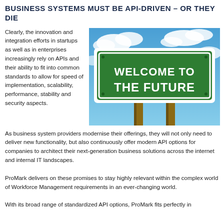BUSINESS SYSTEMS MUST BE API-DRIVEN – OR THEY DIE
Clearly, the innovation and integration efforts in startups as well as in enterprises increasingly rely on APIs and their ability to fit into common standards to allow for speed of implementation, scalability, performance, stability and security aspects.
[Figure (photo): A green highway road sign reading 'WELCOME TO THE FUTURE' against a blue sky with clouds, supported by two wooden posts.]
As business system providers modernise their offerings, they will not only need to deliver new functionality, but also continuously offer modern API options for companies to architect their next-generation business solutions across the internet and internal IT landscapes.
ProMark delivers on these promises to stay highly relevant within the complex world of Workforce Management requirements in an ever-changing world.
With its broad range of standardized API options, ProMark fits perfectly in